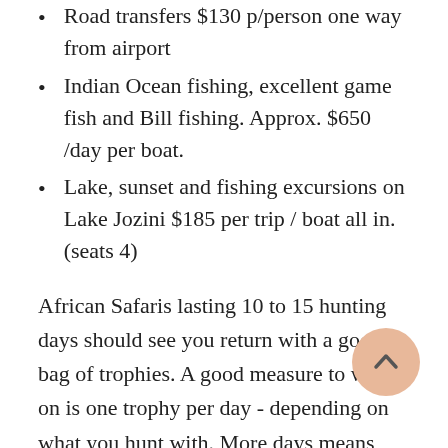Road transfers $130 p/person one way from airport
Indian Ocean fishing, excellent game fish and Bill fishing. Approx. $650 /day per boat.
Lake, sunset and fishing excursions on Lake Jozini $185 per trip / boat all in. (seats 4)
African Safaris lasting 10 to 15 hunting days should see you return with a good bag of trophies. A good measure to work on is one trophy per day - depending on what you hunt with. More days means less pressure on us, a more relaxing time in Africa and usually more and better quality trophies.
We cater for rifles, bows and handguns